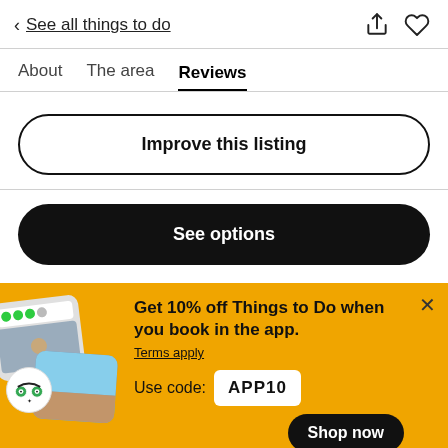< See all things to do
About   The area   Reviews
Improve this listing
See options
Get 10% off Things to Do when you book in the app.
Terms apply
Use code: APP10
Shop now